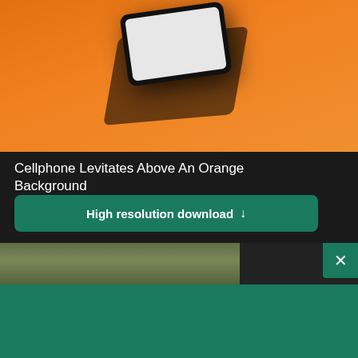[Figure (photo): Cellphone levitating above an orange background, viewed from above at an angle, with shadow beneath]
Cellphone Levitates Above An Orange Background
High resolution download ↓
[Figure (photo): Partial view of another photo strip below]
[Figure (logo): Shopify logo with shopping bag icon and italic wordmark]
Need an online store for your business?
Start free trial